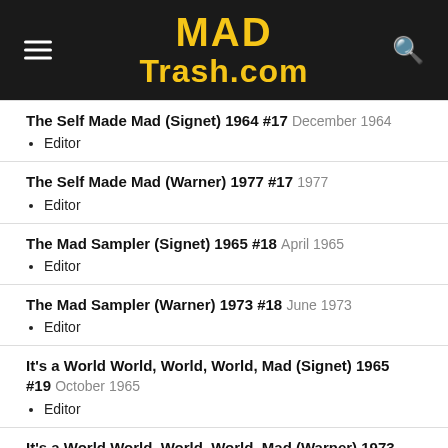MAD Trash.com
The Self Made Mad (Signet) 1964 #17   December 1964
Editor
The Self Made Mad (Warner) 1977 #17   1977
Editor
The Mad Sampler (Signet) 1965 #18   April 1965
Editor
The Mad Sampler (Warner) 1973 #18   June 1973
Editor
It's a World World, World, World, Mad (Signet) 1965 #19   October 1965
Editor
It's a World World, World, World, Mad (Warner) 1973